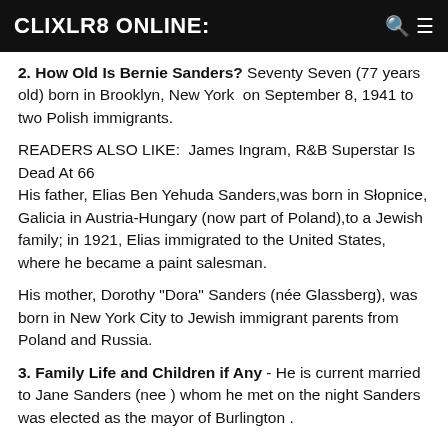CLIXLR8 ONLINE:
2. How Old Is Bernie Sanders? Seventy Seven (77 years old) born in Brooklyn, New York on September 8, 1941 to two Polish immigrants.
READERS ALSO LIKE:  James Ingram, R&B Superstar Is Dead At 66
His father, Elias Ben Yehuda Sanders,was born in Słopnice, Galicia in Austria-Hungary (now part of Poland),to a Jewish family; in 1921, Elias immigrated to the United States, where he became a paint salesman.
His mother, Dorothy "Dora" Sanders (née Glassberg), was born in New York City to Jewish immigrant parents from Poland and Russia.
3. Family Life and Children if Any - He is current married to Jane Sanders (nee ) whom he met on the night Sanders was elected as the mayor of Burlington .